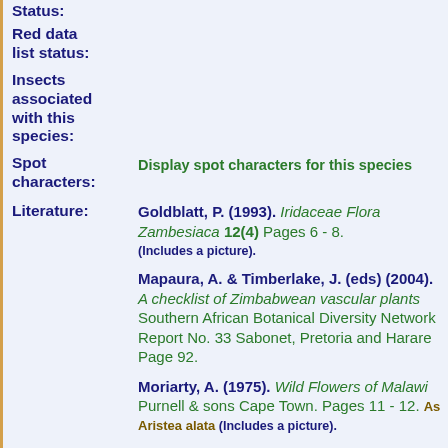Status:
Red data list status:
Insects associated with this species:
Spot characters:
Display spot characters for this species
Literature:
Goldblatt, P. (1993). Iridaceae Flora Zambesiaca 12(4) Pages 6 - 8. (Includes a picture).
Mapaura, A. & Timberlake, J. (eds) (2004). A checklist of Zimbabwean vascular plants Southern African Botanical Diversity Network Report No. 33 Sabonet, Pretoria and Harare Page 92.
Moriarty, A. (1975). Wild Flowers of Malawi Purnell & sons Cape Town. Pages 11 - 12. As Aristea alata (Includes a picture).